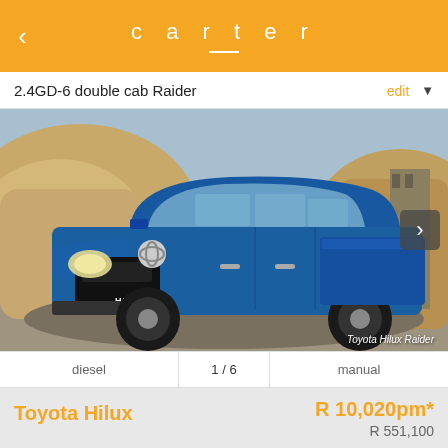carter
2.4GD-6 double cab Raider
[Figure (photo): Blue Toyota Hilux Raider double cab pickup truck photographed outdoors against sandy/rocky background. Caption reads: Toyota Hilux Raider]
diesel  1 / 6  manual
Toyota Hilux
R 10,020pm*
R 551,100
no deals available right now